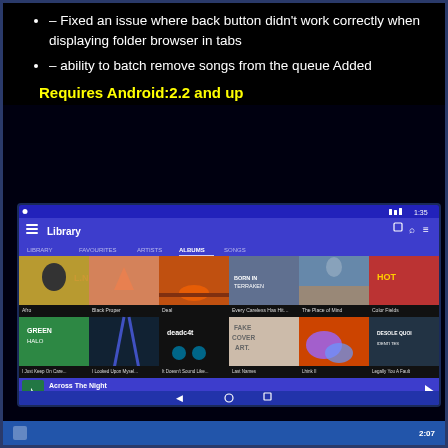– Fixed an issue where back button didn't work correctly when displaying folder browser in tabs
– ability to batch remove songs from the queue Added
Requires Android:2.2 and up
[Figure (screenshot): Android music app screenshot showing Library view with album art grid in two rows of 6 albums each, a now playing bar showing 'Across The Night' by 'The Making Of My Enemy - Morceau', and a bottom navigation bar.]